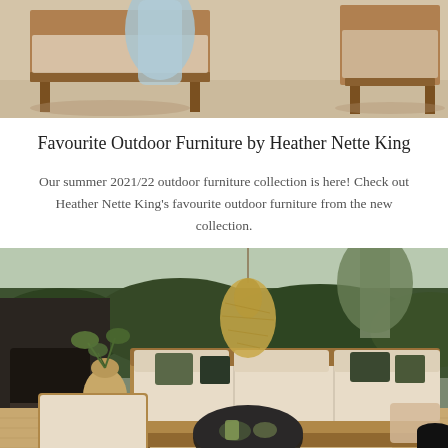[Figure (photo): Outdoor wooden furniture (bench/sofa) with a light blue throw blanket draped over it, on a light stone patio floor, partial top-of-page crop]
Favourite Outdoor Furniture by Heather Nette King
Our summer 2021/22 outdoor furniture collection is here! Check out Heather Nette King's favourite outdoor furniture from the new collection.
[Figure (photo): Outdoor lounge area with a large L-shaped teak sofa with beige cushions and botanical print pillows, a round black hairpin-leg coffee table, a rattan pendant light overhead, a large ceramic pot with greenery, a fireplace on the left, lush green hedge in background, wooden deck flooring with woven rugs]